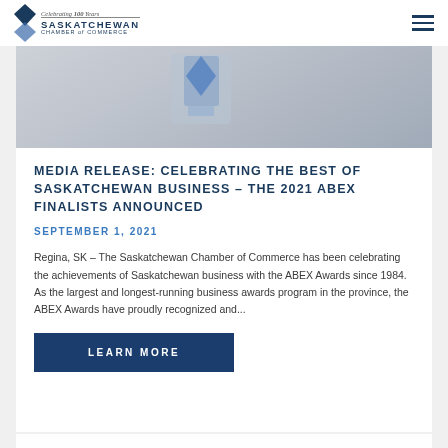Celebrating 100 Years Saskatchewan Chamber of Commerce
[Figure (photo): Partial view of a trophy or award sculpture with blue tones against a grey background]
MEDIA RELEASE: CELEBRATING THE BEST OF SASKATCHEWAN BUSINESS – THE 2021 ABEX FINALISTS ANNOUNCED
SEPTEMBER 1, 2021
Regina, SK – The Saskatchewan Chamber of Commerce has been celebrating the achievements of Saskatchewan business with the ABEX Awards since 1984. As the largest and longest-running business awards program in the province, the ABEX Awards have proudly recognized and...
LEARN MORE